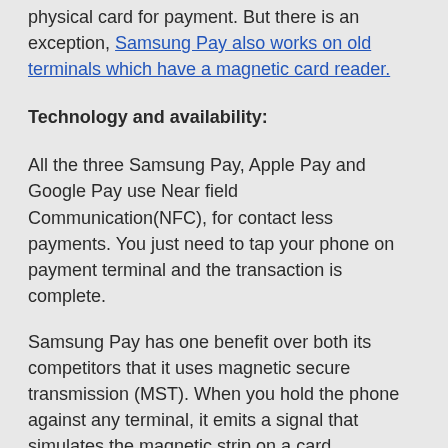physical card for payment. But there is an exception, Samsung Pay also works on old terminals which have a magnetic card reader.
Technology and availability:
All the three Samsung Pay, Apple Pay and Google Pay use Near field Communication(NFC), for contact less payments. You just need to tap your phone on payment terminal and the transaction is complete.
Samsung Pay has one benefit over both its competitors that it uses magnetic secure transmission (MST). When you hold the phone against any terminal, it emits a signal that simulates the magnetic strip on a card.